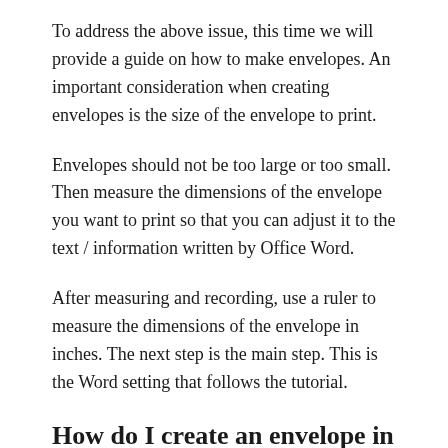To address the above issue, this time we will provide a guide on how to make envelopes. An important consideration when creating envelopes is the size of the envelope to print.
Envelopes should not be too large or too small. Then measure the dimensions of the envelope you want to print so that you can adjust it to the text / information written by Office Word.
After measuring and recording, use a ruler to measure the dimensions of the envelope in inches. The next step is the main step. This is the Word setting that follows the tutorial.
How do I create an envelope in Word?